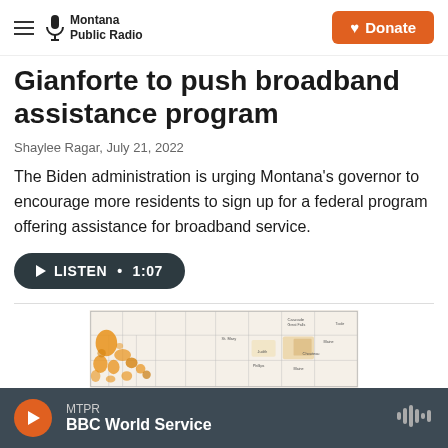Montana Public Radio | Donate
Gianforte to push broadband assistance program
Shaylee Ragar, July 21, 2022
The Biden administration is urging Montana's governor to encourage more residents to sign up for a federal program offering assistance for broadband service.
[Figure (other): Listen audio player button showing play triangle, LISTEN label, and duration 1:07 on dark rounded pill background]
[Figure (map): Partial map of Montana showing county boundaries with orange/gold shaded regions indicating broadband coverage or underserved areas]
MTPR BBC World Service